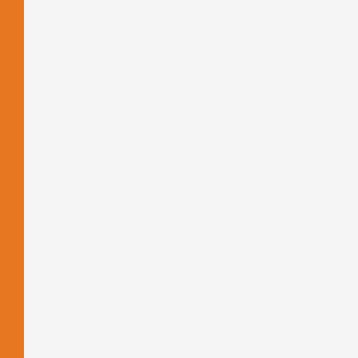| No. | Date | Title |
| --- | --- | --- |
| 173. | 05/04/2021 | Question Bo... |
| 174. | 05/04/2021 | Question Bo... |
| 175. | 05/04/2021 | OMR-Quota... |
| 176. | 31/03/2021 | INSTRUCTIO... WHO MISSE... SEMESTER... Etc. COMME... |
| 177. | 20/03/2021 | ONLINE EXA... |
| 178. | 10/03/2021 | INSTRUCTIO... ENVIRONME... VIOLENCE A... CONDUCTE... |
| 179. | 10/03/2021 | Schedule of... |
| 180. | 02/03/2021 | Notice for th... |
| 181. | 02/03/2021 | M.Phil./Ph.D... |
| 182. | 26/02/2021 | Notice for th... |
| 183. | 16/02/2021 | Duties Guide... the conduct o... 2021 |
| 184. | 15/02/2021 | Letter and P... of Answer Sh... |